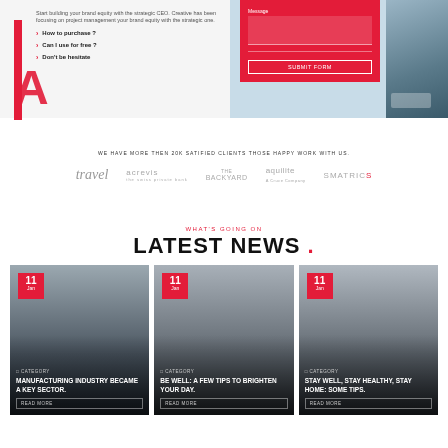Start building your brand equity with the strategic CEO. Creative has been focusing on project management your brand equity with the strategic one.
How to purchase ?
Can I use for free ?
Don't be hesitate
Message — SUBMIT FORM
WE HAVE MORE THEN 20K SATIFIED CLIENTS THOSE HAPPY WORK WITH US.
[Figure (logo): Five client logos in a row: travel (script), acrevis, The Backyard, aquilite A Cruce Company, SMATRICS]
WHAT'S GOING ON
LATEST NEWS .
[Figure (photo): News card 1: man with glasses working, date badge 11 Jan, category tag, headline MANUFACTURING INDUSTRY BECAME A KEY SECTOR., READ MORE button]
[Figure (photo): News card 2: office meeting scene, date badge 11 Jan, category tag, headline BE WELL: A FEW TIPS TO BRIGHTEN YOUR DAY., READ MORE button]
[Figure (photo): News card 3: business meeting room, date badge 11 Jan, category tag, headline STAY WELL, STAY HEALTHY, STAY HOME: SOME TIPS., READ MORE button]